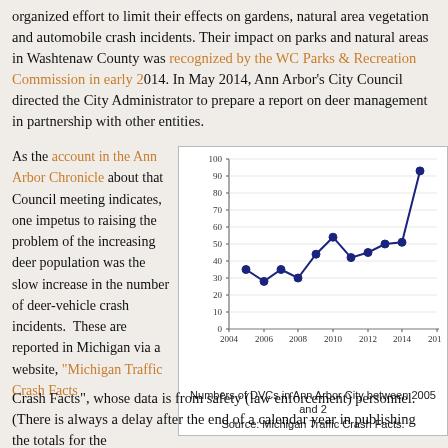organized effort to limit their effects on gardens, natural area vegetation and automobile crash incidents. Their impact on parks and natural areas in Washtenaw County was recognized by the WC Parks & Recreation Commission in early 2014. In May 2014, Ann Arbor's City Council directed the City Administrator to prepare a report on deer management in partnership with other entities.
As the account in the Ann Arbor Chronicle about that Council meeting indicates, one impetus to raising the problem of the increasing deer population was the slow increase in the number of deer-vehicle crash incidents. These are reported in Michigan via a website, "Michigan Traffic Crash Facts", whose data is from safety (law enforcement) personnel. (There is always a delay after the end of a calendar year in publishing the totals for the
[Figure (line-chart): Numbers of DVCs in Ann Arbor City between 2005 and 2015]
Numbers of DVCs in Ann Arbor City between 2005 and 2015. Source: Michigan Traffic Crash Facts.